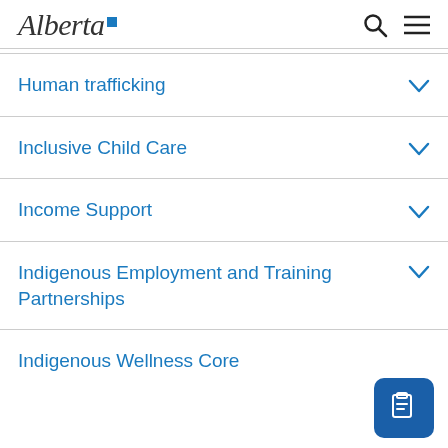Alberta [logo]
Human trafficking
Inclusive Child Care
Income Support
Indigenous Employment and Training Partnerships
Indigenous Wellness Core